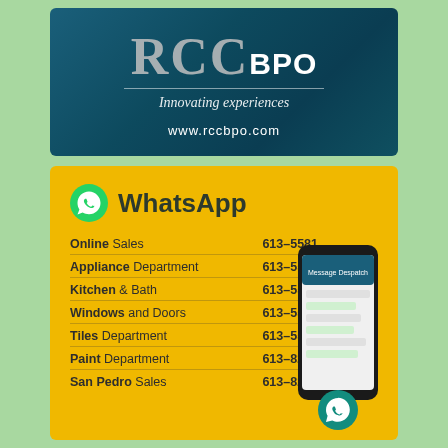[Figure (logo): RCC BPO logo with tagline 'Innovating experiences' and website www.rccbpo.com on dark teal background]
[Figure (infographic): WhatsApp contact directory on yellow background listing department phone numbers: Online Sales 613-5581, Appliance Department 613-5583, Kitchen & Bath 613-5585, Windows and Doors 613-5584, Tiles Department 613-5586, Paint Department 613-8201, San Pedro Sales 613-8228, with a phone image on the right]